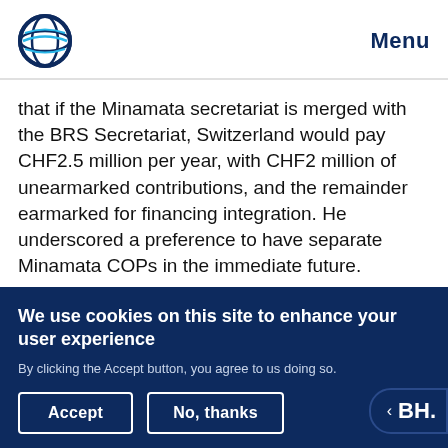Menu
that if the Minamata secretariat is merged with the BRS Secretariat, Switzerland would pay CHF2.5 million per year, with CHF2 million of unearmarked contributions, and the remainder earmarked for financing integration. He underscored a preference to have separate Minamata COPs in the immediate future.
JAMAICA called for discussions to amend the
We use cookies on this site to enhance your user experience
By clicking the Accept button, you agree to us doing so.